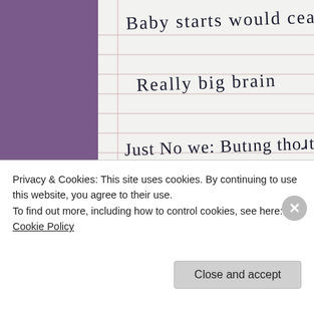[Figure (photo): A handwritten notebook page on ruled paper showing several handwritten lines: 'Baby starts would cease to e[xist]', 'Really big brain', 'Just No we: But[to]ng tho[ugh]ts', 'Only now my shape that w[as]'. The left side shows a purple/mauve margin or cover. The notebook is photographed at an angle.]
Privacy & Cookies: This site uses cookies. By continuing to use this website, you agree to their use.
To find out more, including how to control cookies, see here: Cookie Policy
Close and accept